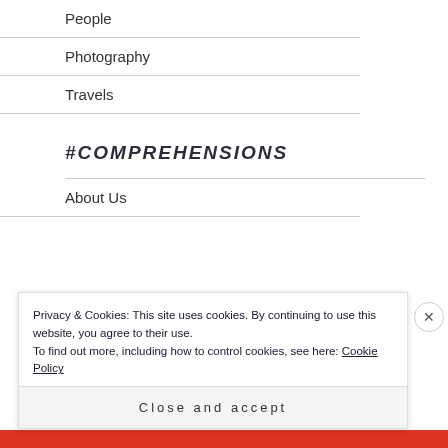People
Photography
Travels
#COMPREHENSIONS
About Us
Privacy & Cookies: This site uses cookies. By continuing to use this website, you agree to their use.
To find out more, including how to control cookies, see here: Cookie Policy
Close and accept